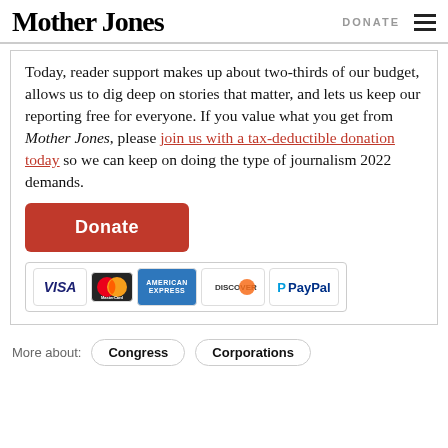Mother Jones | DONATE
Today, reader support makes up about two-thirds of our budget, allows us to dig deep on stories that matter, and lets us keep our reporting free for everyone. If you value what you get from Mother Jones, please join us with a tax-deductible donation today so we can keep on doing the type of journalism 2022 demands.
[Figure (other): Orange Donate button followed by payment icons: VISA, MasterCard, American Express, Discover, PayPal]
More about: Congress  Corporations